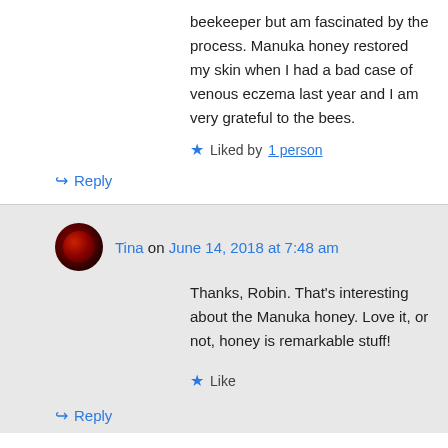beekeeper but am fascinated by the process. Manuka honey restored my skin when I had a bad case of venous eczema last year and I am very grateful to the bees.
★ Liked by 1 person
↪ Reply
Tina on June 14, 2018 at 7:48 am
Thanks, Robin. That's interesting about the Manuka honey. Love it, or not, honey is remarkable stuff!
★ Like
↪ Reply